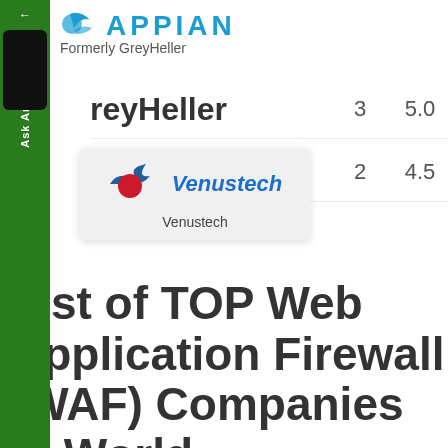[Figure (logo): Appian (formerly GreyHeller) logo at top with cyan/blue icon and text 'APPIAN Formerly GreyHeller']
GreyHeller  3  5.0
[Figure (logo): Venustech logo tooltip popup showing company logo with red and blue bird/circle icon and italic blue text 'Venustech', with label 'Venustech' below]
Venustech  2  4.5
List of TOP Web Application Firewall (WAF) Companies in World